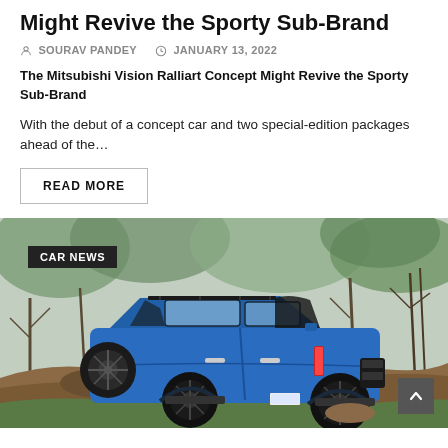Might Revive the Sporty Sub-Brand
SOURAV PANDEY   JANUARY 13, 2022
The Mitsubishi Vision Ralliart Concept Might Revive the Sporty Sub-Brand
With the debut of a concept car and two special-edition packages ahead of the…
READ MORE
[Figure (photo): A blue Ford Bronco SUV photographed from the rear-left angle while climbing over rocky terrain, with bare trees in the background. A 'CAR NEWS' badge is overlaid in the upper-left corner of the image. A scroll-up button is visible in the lower-right corner.]